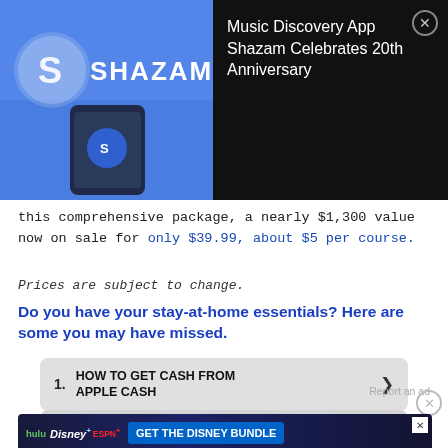[Figure (screenshot): Shazam app advertisement overlay with dark background. Left side shows Shazam logo (blue background with S icon and smartphone) and right side shows text 'Music Discovery App Shazam Celebrates 20th Anniversary' with close button.]
this comprehensive package, a nearly $1,300 value now on sale for only $39.99, about $5 per course.
Prices are subject to change.
Do you have your stay-at-home essentials? Here are some you may have missed.
1. HOW TO GET CASH FROM APPLE CASH
AMAZON FIRE STICK AMAZON
[Figure (screenshot): Disney Bundle advertisement banner showing hulu, Disney+, and ESPN+ logos with 'GET THE DISNEY BUNDLE' button and fine print about access and terms.]